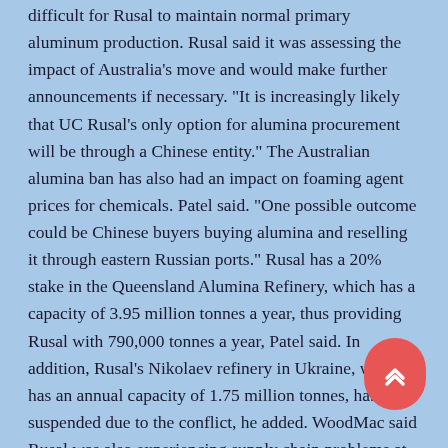difficult for Rusal to maintain normal primary aluminum production. Rusal said it was assessing the impact of Australia's move and would make further announcements if necessary. "It is increasingly likely that UC Rusal's only option for alumina procurement will be through a Chinese entity." The Australian alumina ban has also had an impact on foaming agent prices for chemicals. Patel said. "One possible outcome could be Chinese buyers buying alumina and reselling it through eastern Russian ports." Rusal has a 20% stake in the Queensland Alumina Refinery, which has a capacity of 3.95 million tonnes a year, thus providing Rusal with 790,000 tonnes a year, Patel said. In addition, Rusal's Nikolaev refinery in Ukraine, which has an annual capacity of 1.75 million tonnes, has been suspended due to the conflict, he added. WoodMac said Rusal was also experiencing supply chain problems at its 2 million tonne a year Aughinish refinery in Ireland.
Introduction to Protein Foaming Agents
Protein foaming agents are produced from naturally hydrolyzed proteins. They are combined with foam